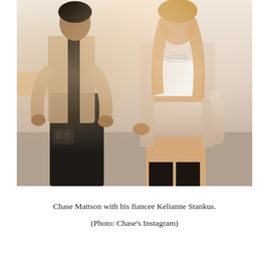[Figure (photo): A couple standing together. A man on the left wearing a beige/tan open jacket over a dark outfit with ripped black jeans. A woman on the right wearing a beige oversized cardigan/jacket over a white crop top and matching beige shorts, with layered necklaces and long wavy blonde hair.]
Chase Mattson with his fiancee Kelianne Stankus.
(Photo: Chase's Instagram)